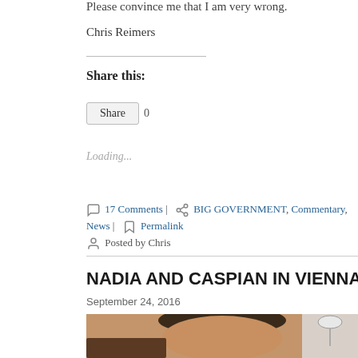Please convince me that I am very wrong.
Chris Reimers
Share this:
Share  0
Loading...
17 Comments | BIG GOVERNMENT, Commentary, News | Permalink
Posted by Chris
NADIA AND CASPIAN IN VIENNA…UPDATE #17
September 24, 2016
[Figure (photo): A photo of a person (face visible from forehead to chin), dark hair, in a room with a lamp visible in the background.]